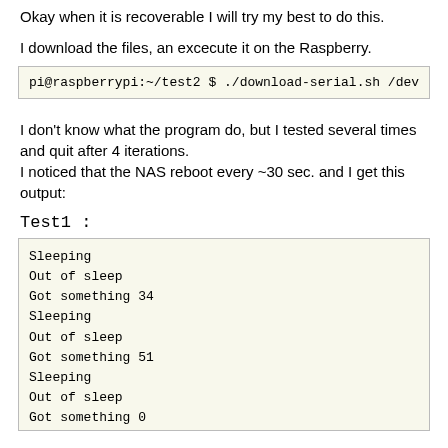Okay when it is recoverable I will try my best to do this.
I download the files, an excecute it on the Raspberry.
pi@raspberrypi:~/test2 $ ./download-serial.sh /dev
I don't know what the program do, but I tested several times and quit after 4 iterations.
I noticed that the NAS reboot every ~30 sec. and I get this output:
Test1 :
Sleeping
Out of sleep
Got something 34
Sleeping
Out of sleep
Got something 51
Sleeping
Out of sleep
Got something 0
Sleeping
Out of sleep
Got something 85